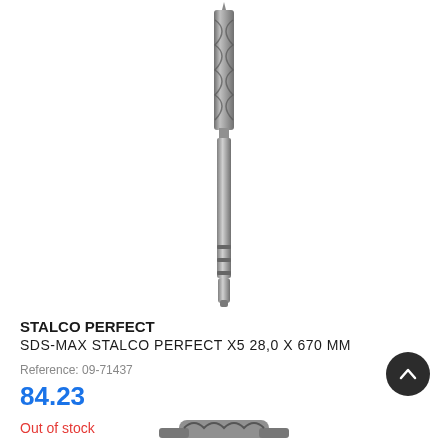[Figure (photo): SDS-Max drill bit with spiral fluted tip and SDS-Max shank, shown vertically oriented against white background]
STALCO PERFECT
SDS-MAX STALCO PERFECT X5 28,0 X 670 MM
Reference: 09-71437
84.23
Out of stock
[Figure (photo): Partial view of another drill bit or tool at the bottom of the page]